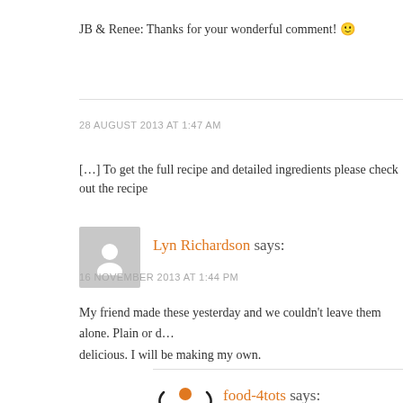JB & Renee: Thanks for your wonderful comment! 🙂
28 AUGUST 2013 AT 1:47 AM
[…] To get the full recipe and detailed ingredients please check out the recipe
Lyn Richardson says:
16 NOVEMBER 2013 AT 1:44 PM
My friend made these yesterday and we couldn't leave them alone. Plain or d… delicious. I will be making my own.
food-4tots says:
19 NOVEMBER 2013 AT 9:50 PM